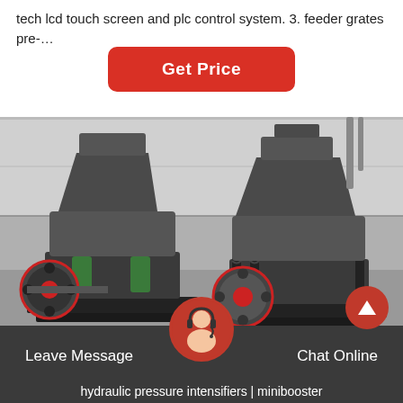tech lcd touch screen and plc control system. 3. feeder grates pre-…
[Figure (other): Red rounded rectangle button labeled 'Get Price']
[Figure (photo): Two large industrial cone crusher machines in a factory warehouse, dark grey metal bodies with red-accented flywheels, mounted on black steel frames.]
[Figure (other): Bottom navigation bar with 'Leave Message' on the left, a circular avatar of a customer service representative in the center, and 'Chat Online' on the right, on a dark grey background. Below the bar partial text reads 'hydraulic pressure intensifiers | minibooster']
hydraulic pressure intensifiers | minibooster